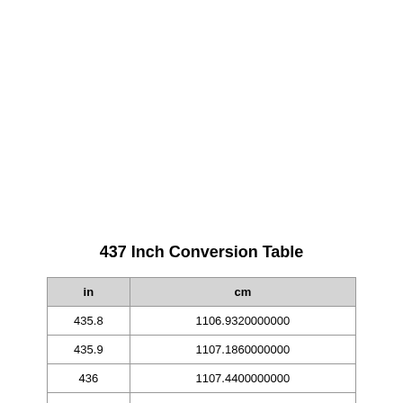437 Inch Conversion Table
| in | cm |
| --- | --- |
| 435.8 | 1106.9320000000 |
| 435.9 | 1107.1860000000 |
| 436 | 1107.4400000000 |
| 436.1 | 1107.6940000000 |